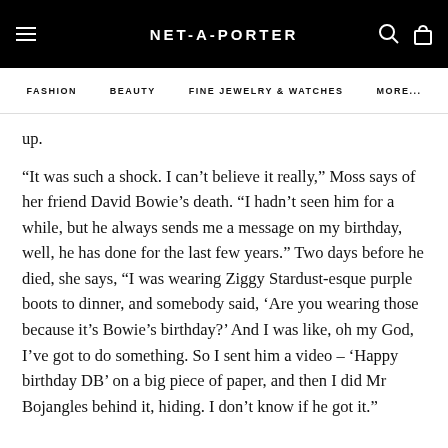NET-A-PORTER
FASHION  BEAUTY  FINE JEWELRY & WATCHES  MORE...
up.
“It was such a shock. I can’t believe it really,” Moss says of her friend David Bowie’s death. “I hadn’t seen him for a while, but he always sends me a message on my birthday, well, he has done for the last few years.” Two days before he died, she says, “I was wearing Ziggy Stardust-esque purple boots to dinner, and somebody said, ‘Are you wearing those because it’s Bowie’s birthday?’ And I was like, oh my God, I’ve got to do something. So I sent him a video – ‘Happy birthday DB’ on a big piece of paper, and then I did Mr Bojangles behind it, hiding. I don’t know if he got it.”